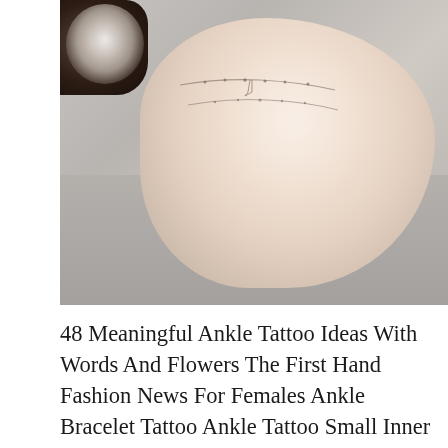[Figure (photo): A close-up photograph of a foot and ankle with delicate ankle bracelet tattoos. The ankle has two thin line tattoos resembling chain/bracelet designs. Background includes a dark decorative element in the top-left and a gray surface beneath the foot.]
48 Meaningful Ankle Tattoo Ideas With Words And Flowers The First Hand Fashion News For Females Ankle Bracelet Tattoo Ankle Tattoo Small Inner Ankle Tattoos